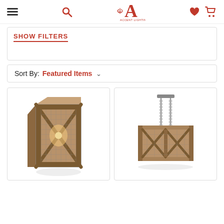Accent Lighting - navigation header with hamburger, search, logo, heart, cart icons
SHOW FILTERS
Sort By: Featured Items
[Figure (photo): Rustic wooden crate-style pendant light with X-shaped wood frame and metal mesh sides, warm interior glow]
[Figure (photo): Rectangular rustic wood and metal mesh linear chandelier with X-shaped frame, hanging from two silver chains and rods]